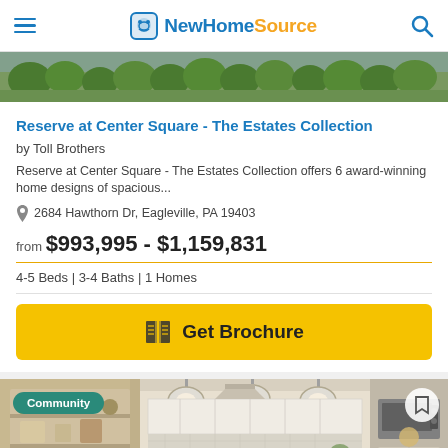NewHomeSource
[Figure (photo): Aerial photo strip showing green trees/landscaping of community]
Reserve at Center Square - The Estates Collection
by Toll Brothers
Reserve at Center Square - The Estates Collection offers 6 award-winning home designs of spacious...
2684 Hawthorn Dr, Eagleville, PA 19403
from $993,995 - $1,159,831
4-5 Beds | 3-4 Baths | 1 Homes
[Figure (other): Get Brochure button with book icon]
[Figure (photo): Kitchen interior photo of a new home community with hanging pendant lights over an island, white cabinetry, Community badge overlay]